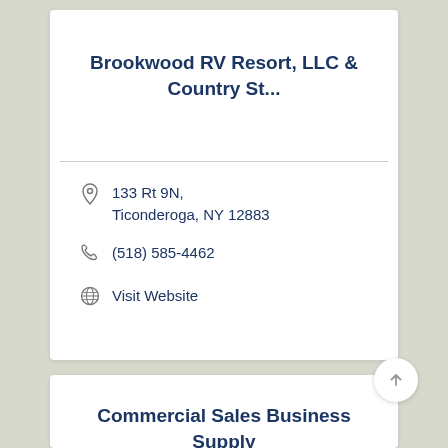Brookwood RV Resort, LLC & Country St...
133 Rt 9N, Ticonderoga, NY 12883
(518) 585-4462
Visit Website
Commercial Sales Business Supply